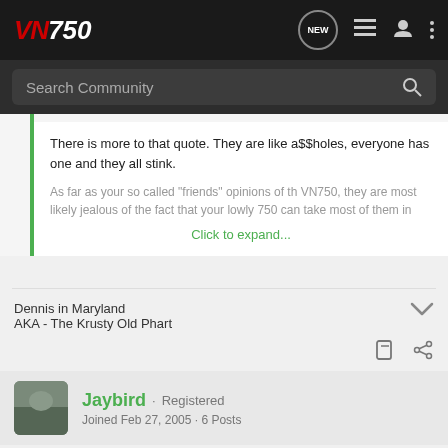VN750 - Search Community
There is more to that quote. They are like a$$holes, everyone has one and they all stink.
As far as your so called "friends" opinions of th VN750, they are most likely jealous of the fact that your lowly 750 can take most of them in
Click to expand...
Dennis in Maryland
AKA - The Krusty Old Phart
Jaybird · Registered
Joined Feb 27, 2005 · 6 Posts